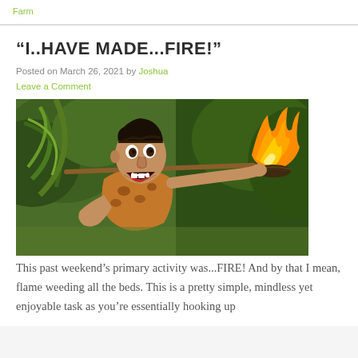Farm
“I..HAVE MADE...FIRE!”
Posted on March 26, 2021 by Joshua
Leave a Comment
[Figure (photo): Movie still from Cast Away showing Tom Hanks with an excited/ecstatic expression looking at a fire he has started, in a tropical jungle setting. He is wearing animal skin clothing and leaning over a wooden stick with a burning fire/torch in the foreground.]
This past weekend’s primary activity was...FIRE! And by that I mean, flame weeding all the beds. This is a pretty simple, mindless yet enjoyable task as you’re essentially hooking up